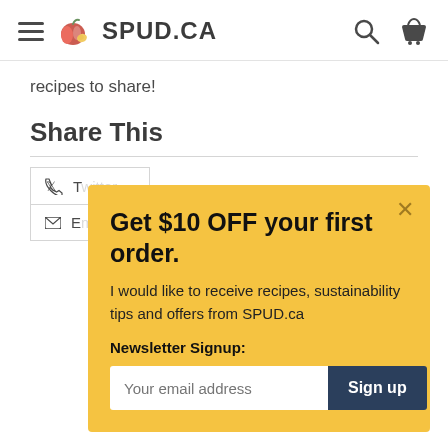SPUD.CA
recipes to share!
Share This
Ty...
E...
Get $10 OFF your first order.
I would like to receive recipes, sustainability tips and offers from SPUD.ca
Newsletter Signup:
Your email address  Sign up